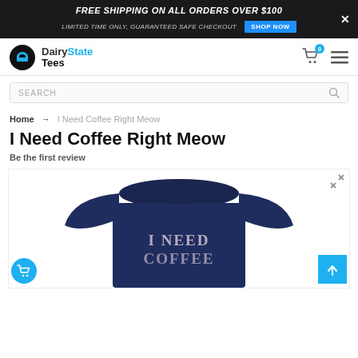FREE SHIPPING ON ALL ORDERS OVER $100 | LIMITED TIME ONLY, GUARANTEED SAFE CHECKOUT | SHOP NOW
[Figure (logo): Dairy State Tees logo with blue t-shirt icon and brand name]
SEARCH
Home → I Need Coffee Right Meow
I Need Coffee Right Meow
Be the first review
[Figure (photo): Navy blue t-shirt with text 'I NEED COFFEE' printed on it in light pink/white serif font]